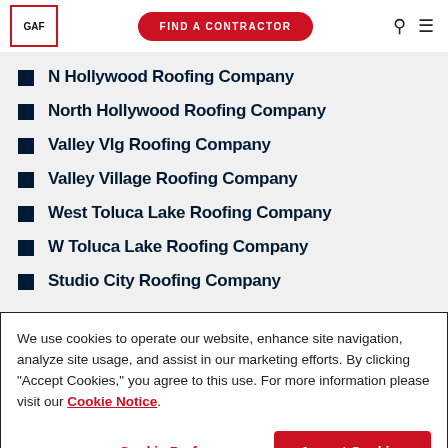[Figure (logo): GAF logo in red-bordered box]
N Hollywood Roofing Company
North Hollywood Roofing Company
Valley Vlg Roofing Company
Valley Village Roofing Company
West Toluca Lake Roofing Company
W Toluca Lake Roofing Company
Studio City Roofing Company
We use cookies to operate our website, enhance site navigation, analyze site usage, and assist in our marketing efforts. By clicking "Accept Cookies," you agree to this use. For more information please visit our Cookie Notice.